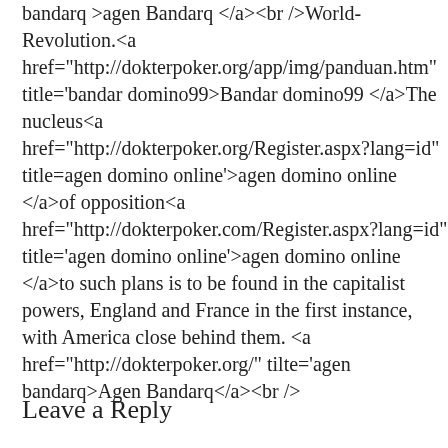bandarq >agen Bandarq </a><br />World-Revolution.<a href="http://dokterpoker.org/app/img/panduan.htm" title='bandar domino99>Bandar domino99 </a>The nucleus<a href="http://dokterpoker.org/Register.aspx?lang=id" title=agen domino online'>agen domino online </a>of opposition<a href="http://dokterpoker.com/Register.aspx?lang=id" title='agen domino online'>agen domino online </a>to such plans is to be found in the capitalist powers, England and France in the first instance, with America close behind them. <a href="http://dokterpoker.org/" tilte='agen bandarq>Agen Bandarq</a><br />
Reply
Leave a Reply